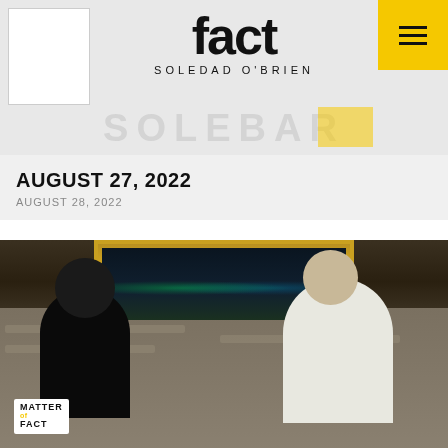[Figure (screenshot): Matter of Fact with Soledad O'Brien website header banner showing show logo and navigation hamburger menu]
AUGUST 27, 2022
AUGUST 28, 2022
[Figure (photo): Interview scene in a theater/auditorium setting. Two people sit in theater seats facing each other — a woman in dark clothing on the left and a man in white clothing on the right. A 'Matter of Fact' logo watermark is visible in the bottom left corner.]